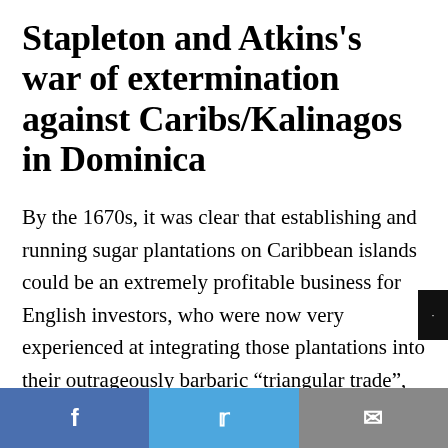Stapleton and Atkins's war of extermination against Caribs/Kalinagos in Dominica
By the 1670s, it was clear that establishing and running sugar plantations on Caribbean islands could be an extremely profitable business for English investors, who were now very experienced at integrating those plantations into their outrageously barbaric “triangular trade”, one key leg of which involved shipping enslaved Africans from their